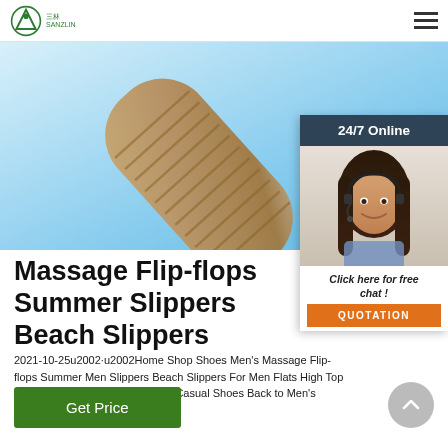三林SANZLIN logo and navigation menu
[Figure (photo): Close-up product photo of a flip-flop/slipper sole on a light blue/cyan background, showing textured massage surface]
[Figure (photo): 24/7 Online chat overlay with a woman wearing a headset smiling, dark header saying '24/7 Online', italic text 'Click here for free chat!', and an orange QUOTATION button]
Massage Flip-flops Summer Slippers Beach Slippers
2021-10-25u2002·u2002Home Shop Shoes Men's Massage Flip-flops Summer Men Slippers Beach Slippers For Men Flats High Top Non-slip Pu Shoes Men Outdoor Casual Shoes Back to Men's Shoes -32%
Get Price